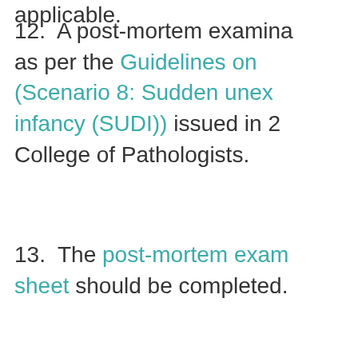applicable.
12. A post-mortem examination as per the Guidelines on (Scenario 8: Sudden unexpected death in infancy (SUDI)) issued in 2... College of Pathologists.
13. The post-mortem examination sheet should be completed.